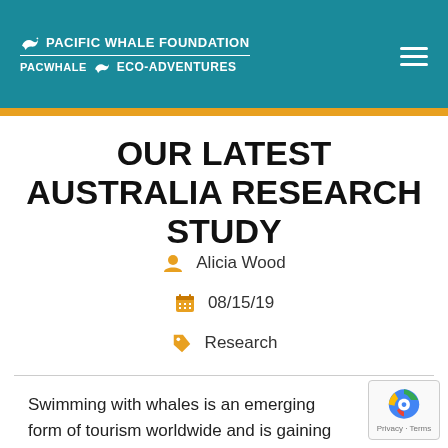PACIFIC WHALE FOUNDATION | PACWHALE ECO-ADVENTURES
OUR LATEST AUSTRALIA RESEARCH STUDY
Alicia Wood
08/15/19
Research
Swimming with whales is an emerging form of tourism worldwide and is gaining interest in